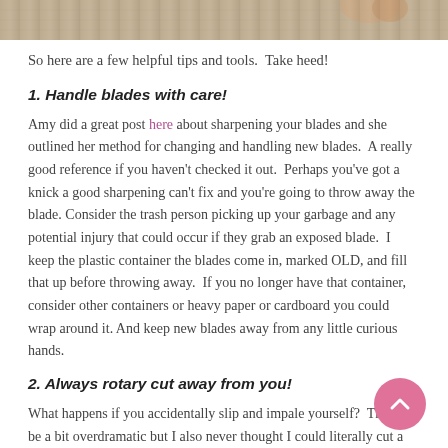[Figure (photo): Partial cropped photo strip at top of page showing hands or craft tools on a gridded cutting mat]
So here are a few helpful tips and tools.  Take heed!
1. Handle blades with care!
Amy did a great post here about sharpening your blades and she outlined her method for changing and handling new blades.  A really good reference if you haven't checked it out.  Perhaps you've got a knick a good sharpening can't fix and you're going to throw away the blade. Consider the trash person picking up your garbage and any potential injury that could occur if they grab an exposed blade.  I keep the plastic container the blades come in, marked OLD, and fill that up before throwing away.  If you no longer have that container, consider other containers or heavy paper or cardboard you could wrap around it. And keep new blades away from any little curious hands.
2. Always rotary cut away from you!
What happens if you accidentally slip and impale yourself?  That may be a bit overdramatic but I also never thought I could literally cut a chunk off my finger.  These puppies are sharp!